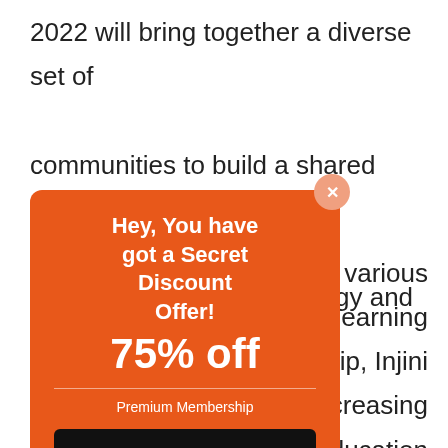2022 will bring together a diverse set of communities to build a shared understanding of the potential of technology and how
[Figure (screenshot): Orange popup overlay with close button showing 'Hey, You have got a Secret Discount Offer! 75% off' with Premium Membership label and JOIN NOW button]
ntage of the various ns to improve learning s partnership, Injini its mission of increasing relevance of education